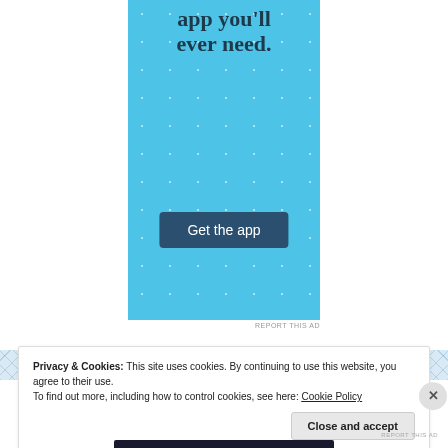[Figure (screenshot): Advertisement banner with light blue background and sparkle/star pattern. Text reads 'app you'll ever need.' with a dark blue 'Get the app' button.]
REPORT THIS AD
Privacy & Cookies: This site uses cookies. By continuing to use this website, you agree to their use. To find out more, including how to control cookies, see here: Cookie Policy
Close and accept